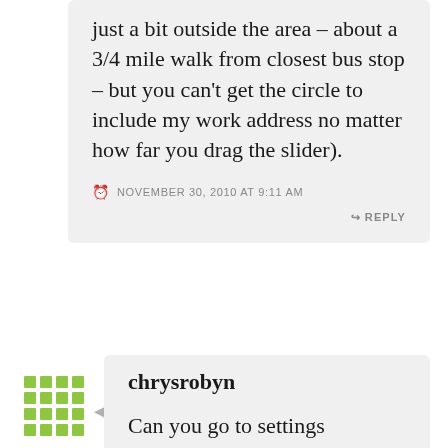just a bit outside the area – about a 3/4 mile walk from closest bus stop – but you can't get the circle to include my work address no matter how far you drag the slider).
NOVEMBER 30, 2010 AT 9:11 AM
REPLY
[Figure (illustration): Green pixel/grid avatar icon for user chrysrobyn]
chrysrobyn
Can you go to settings